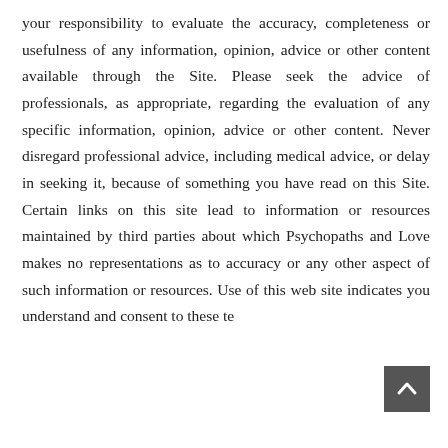your responsibility to evaluate the accuracy, completeness or usefulness of any information, opinion, advice or other content available through the Site. Please seek the advice of professionals, as appropriate, regarding the evaluation of any specific information, opinion, advice or other content. Never disregard professional advice, including medical advice, or delay in seeking it, because of something you have read on this Site. Certain links on this site lead to information or resources maintained by third parties about which Psychopaths and Love makes no representations as to accuracy or any other aspect of such information or resources. Use of this web site indicates you understand and consent to these te...